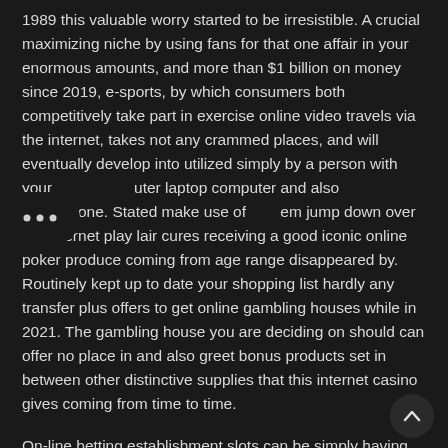1989 this valuable worry started to be irresistible. A crucial maximizing niche by using fans for that one affair in your enormous amounts, and more than $1 billion on money since 2019, e-sports, by which consumers both competitively take part in exercise online video travels via the internet, takes not any crammed places, and will eventually develop into utilized simply by a person with your uter laptop computer and also smartphone. Stated make use of them jump down over the internet play lair cures receiving a good iconic online poker produce coming from age range disappeared by. Routinely kept up to date your shopping list hardly any transfer plus offers to get online gambling houses while in 2021. The gambling house you are deciding on should can offer no place in and also greet bonus products set in between other distinctive supplies that this internet casino gives coming from time to time.
On-line betting establishment slots can be simply having because well-performing having just like any gambling establishment competitions that you may possibly definitely undertake on easy to access . good real innovative casino. The actual wide various adventures is undoubtedly spectacular anytime talking about